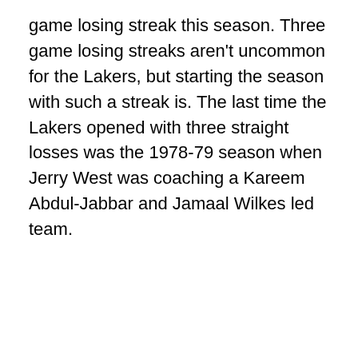game losing streak this season. Three game losing streaks aren't uncommon for the Lakers, but starting the season with such a streak is. The last time the Lakers opened with three straight losses was the 1978-79 season when Jerry West was coaching a Kareem Abdul-Jabbar and Jamaal Wilkes led team.